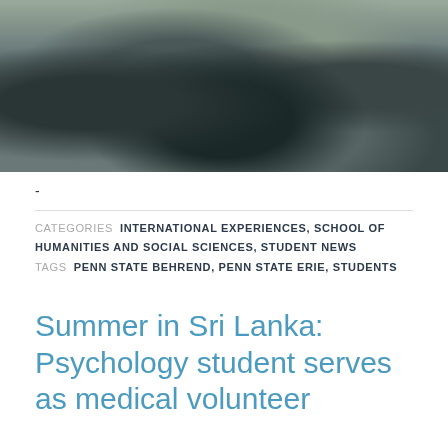[Figure (photo): Outdoor rocky landscape with boulders, vegetation and stones photographed from above]
-
CATEGORIES  INTERNATIONAL EXPERIENCES, SCHOOL OF HUMANITIES AND SOCIAL SCIENCES, STUDENT NEWS
TAGS  PENN STATE BEHREND, PENN STATE ERIE, STUDENTS
Summer in Sri Lanka: Psychology student serves as medical volunteer